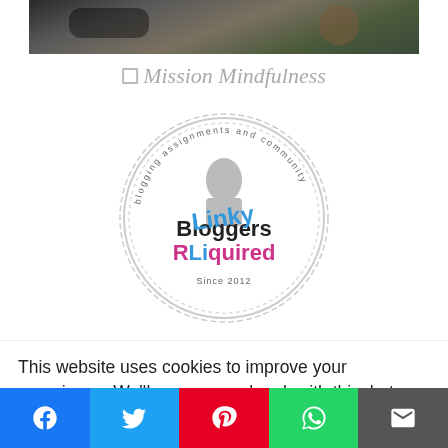[Figure (photo): Top portion of a photo showing glasses and pine cones on a wooden surface — partially cropped]
[Figure (illustration): Mission Mindfulness placeholder image with text 'Mission Mindfulness' in italic gray]
[Figure (logo): Blogging Assignments and Community circular badge logo with text 'Bloggers Required' and 'Linky' overlaid in blue/pink, Since 2012]
[Figure (photo): Books stacked on shelves with a teal semi-circle overlay showing @mummyharris05 and website URL]
This website uses cookies to improve your experience. We'll assume you're ok with this, but you can opt-out if you wish.
[Figure (infographic): Social sharing bar with Facebook (blue), Twitter (light blue), Pinterest (red), WhatsApp (green), and Email (gray) buttons]